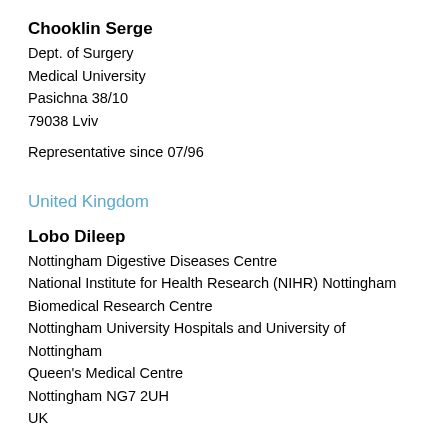Chooklin Serge
Dept. of Surgery
Medical University
Pasichna 38/10
79038 Lviv
Representative since 07/96
United Kingdom
Lobo Dileep
Nottingham Digestive Diseases Centre
National Institute for Health Research (NIHR) Nottingham Biomedical Research Centre
Nottingham University Hospitals and University of Nottingham
Queen's Medical Centre
Nottingham NG7 2UH
UK